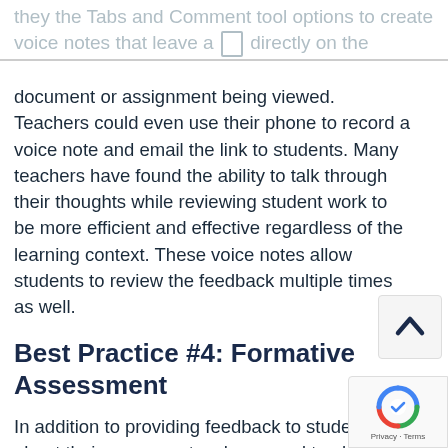they the Tabs and Comment tool options to create voice notes that leave a [icon] directly on the document or assignment being viewed. Teachers could even use their phone to record a voice note and email the link to students. Many teachers have found the ability to talk through their thoughts while reviewing student work to be more efficient and effective regardless of the learning context. These voice notes allow students to review the feedback multiple times as well.
Best Practice #4: Formative Assessment
In addition to providing feedback to students about their progress, teachers need to also